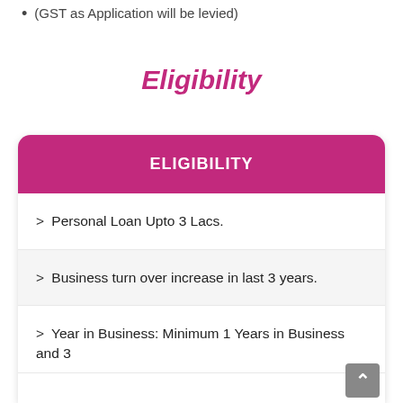(GST as Application will be levied)
Eligibility
ELIGIBILITY
> Personal Loan Upto 3 Lacs.
> Business turn over increase in last 3 years.
> Year in Business: Minimum 1 Years in Business and 3